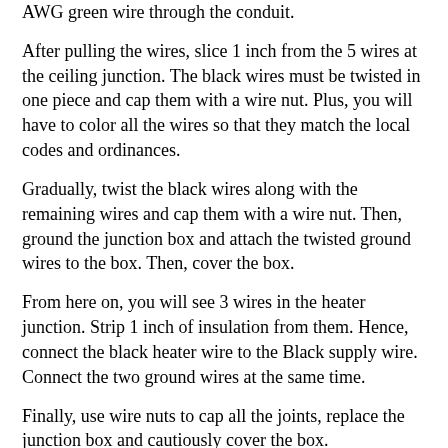AWG green wire through the conduit.
After pulling the wires, slice 1 inch from the 5 wires at the ceiling junction. The black wires must be twisted in one piece and cap them with a wire nut. Plus, you will have to color all the wires so that they match the local codes and ordinances.
Gradually, twist the black wires along with the remaining wires and cap them with a wire nut. Then, ground the junction box and attach the twisted ground wires to the box. Then, cover the box.
From here on, you will see 3 wires in the heater junction. Strip 1 inch of insulation from them. Hence, connect the black heater wire to the Black supply wire. Connect the two ground wires at the same time.
Finally, use wire nuts to cap all the joints, replace the junction box and cautiously cover the box.
At last, turn on the circuit breaker and switch the heater to feel the long waited warm air.
Wrapping It Up!
So, you picked the best electric garage heater 120V yet? We're